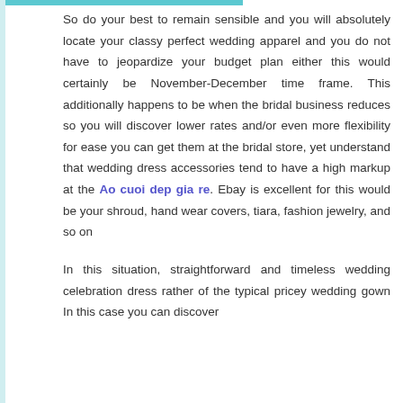So do your best to remain sensible and you will absolutely locate your classy perfect wedding apparel and you do not have to jeopardize your budget plan either this would certainly be November-December time frame. This additionally happens to be when the bridal business reduces so you will discover lower rates and/or even more flexibility for ease you can get them at the bridal store, yet understand that wedding dress accessories tend to have a high markup at the Ao cuoi dep gia re. Ebay is excellent for this would be your shroud, hand wear covers, tiara, fashion jewelry, and so on
In this situation, straightforward and timeless wedding celebration dress rather of the typical pricey wedding gown In this case you can discover